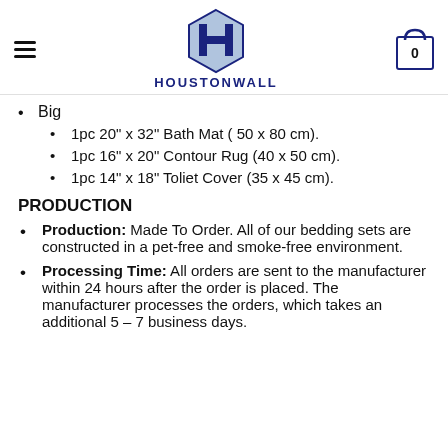HOUSTONWALL
Big
1pc 20" x 32" Bath Mat ( 50 x 80 cm).
1pc 16" x 20" Contour Rug (40 x 50 cm).
1pc 14" x 18" Toliet Cover (35 x 45 cm).
PRODUCTION
Production: Made To Order. All of our bedding sets are constructed in a pet-free and smoke-free environment.
Processing Time: All orders are sent to the manufacturer within 24 hours after the order is placed. The manufacturer processes the orders, which takes an additional 5 – 7 business days.